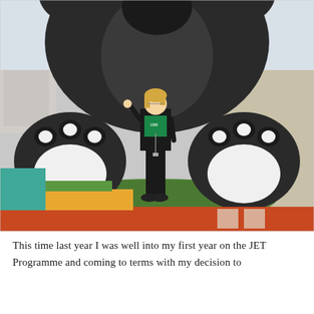[Figure (photo): A woman standing in front of a large black bear or cat mascot statue/sculpture, posing between the two large paws of the figure. She is wearing black pants, a black jacket, and a green t-shirt, with blonde hair. The setting appears to be an outdoor plaza with colorful flooring in orange, yellow, and green. Buildings are visible in the background.]
This time last year I was well into my first year on the JET Programme and coming to terms with my decision to